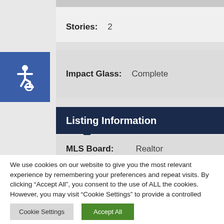Stories: 2
Impact Glass: Complete
Listing Information
MLS Board: Realtor
We use cookies on our website to give you the most relevant experience by remembering your preferences and repeat visits. By clicking “Accept All”, you consent to the use of ALL the cookies. However, you may visit “Cookie Settings” to provide a controlled consent.
Cookie Settings
Accept All